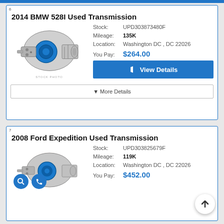2014 BMW 528I Used Transmission
Stock: UPD303873480F
Mileage: 135K
Location: Washington DC , DC 22026
You Pay: $264.00
▼ More Details
2008 Ford Expedition Used Transmission
Stock: UPD303825679F
Mileage: 119K
Location: Washington DC , DC 22026
You Pay: $452.00